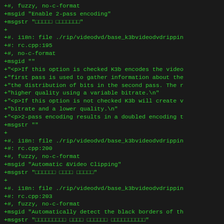+#, fuzzy, no-c-format
+msgid "Enable 2-pass encoding"
+msgstr "□□□□□ □□□□□□□"
+
+#. i18n: file ./rip/videodvd/base_k3bvideodvdrippin
+#: rc.cpp:195
+#, no-c-format
+msgid ""
+"<p>If this option is checked K3b encodes the video
+"first pass is used to gather information about the
+"the distribution of bits in the second pass. The r
+"higher quality using a variable bitrate.\n"
+"<p>If this option is not checked K3b will create v
+"bitrate and a lower quality.\n"
+"<p>2-pass encoding results in a doubled encoding t
+msgstr ""
+
+#. i18n: file ./rip/videodvd/base_k3bvideodvdrippin
+#: rc.cpp:200
+#, fuzzy, no-c-format
+msgid "Automatic &Video Clipping"
+msgstr "□□□□□□ □□□□ □□□□□"
+
+#. i18n: file ./rip/videodvd/base_k3bvideodvdrippin
+#: rc.cpp:203
+#, fuzzy, no-c-format
+msgid "Automatically detect the black borders of th
+msgstr "□□□□□□□□□ □□□□ □□□□□□ □□□□□□□□□□"
+
+#. i18n: file ./rip/videodvd/base_k3bvideodvdrippin